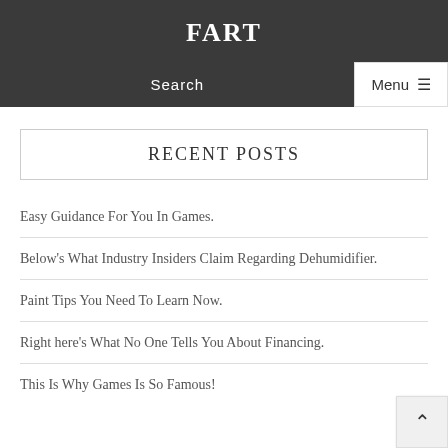FART
Search
Menu ≡
RECENT POSTS
Easy Guidance For You In Games.
Below's What Industry Insiders Claim Regarding Dehumidifier.
Paint Tips You Need To Learn Now.
Right here's What No One Tells You About Financing.
This Is Why Games Is So Famous!